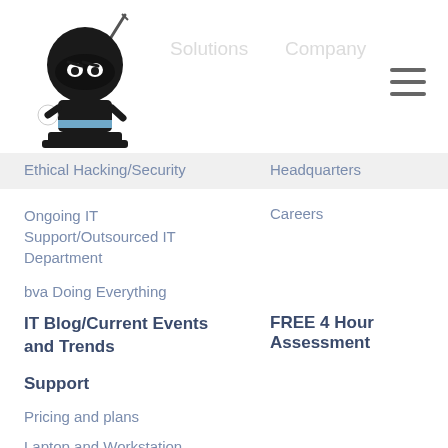[Figure (logo): Ninja mascot logo — cartoon black ninja character holding a sword, with a white ball in hand, wearing a blue belt, seated on a black platform]
Ethical Hacking/Security
Headquarters
Ongoing IT Support/Outsourced IT Department
Careers
bva Doing Everything
IT Blog/Current Events and Trends
FREE 4 Hour Assessment
Support
Pricing and plans
Laptop and Workstation